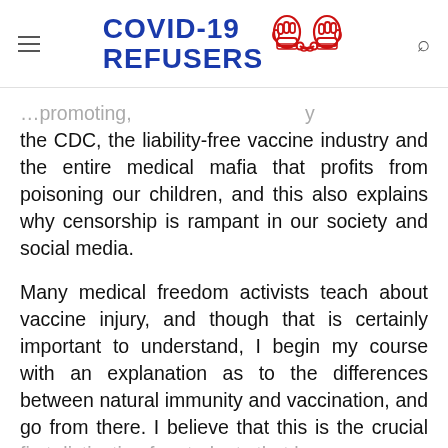COVID-19 REFUSERS
…promoting, only the CDC, the liability-free vaccine industry and the entire medical mafia that profits from poisoning our children, and this also explains why censorship is rampant in our society and social media.
Many medical freedom activists teach about vaccine injury, and though that is certainly important to understand, I begin my course with an explanation as to the differences between natural immunity and vaccination, and go from there. I believe that this is the crucial [first distinction for students that has…]